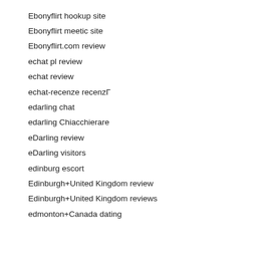Ebonyflirt hookup site
Ebonyflirt meetic site
Ebonyflirt.com review
echat pl review
echat review
echat-recenze recenzГ
edarling chat
edarling Chiacchierare
eDarling review
eDarling visitors
edinburg escort
Edinburgh+United Kingdom review
Edinburgh+United Kingdom reviews
edmonton+Canada dating